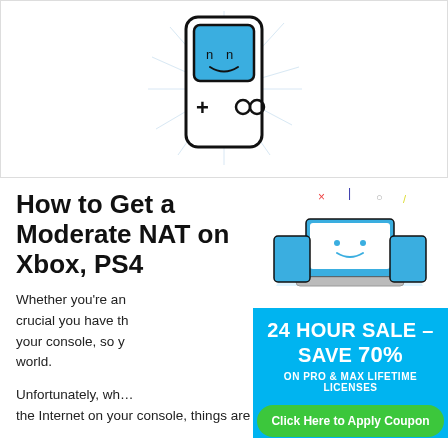[Figure (illustration): Cartoon illustration of a handheld game console with a blue happy face screen, a plus/cross d-pad button and two circular buttons, set against radiating light lines on a white background.]
How to Get a Moderate NAT on Xbox, PS4
Whether you're an... crucial you have th... your console, so y... world.
[Figure (illustration): Advertisement banner with blue background showing cartoon devices (laptop, tablet, phone) with happy faces. Text reads: 24 HOUR SALE – SAVE 70% ON PRO & MAX LIFETIME LICENSES. Green button: Click Here to Apply Coupon.]
Unfortunately, wh... the Internet on your console, things are not so simple. If